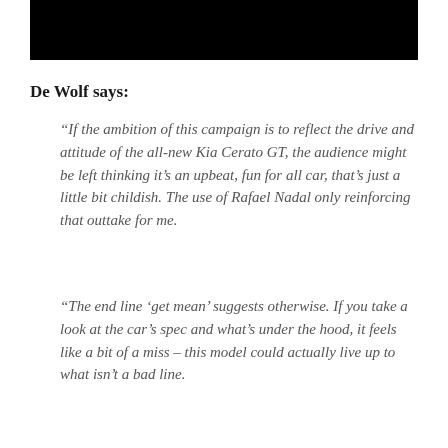[Figure (photo): Black bar at top of page, partially obscuring an image above]
De Wolf says:
“If the ambition of this campaign is to reflect the drive and attitude of the all-new Kia Cerato GT, the audience might be left thinking it’s an upbeat, fun for all car, that’s just a little bit childish. The use of Rafael Nadal only reinforcing that outtake for me.
“The end line ‘get mean’ suggests otherwise. If you take a look at the car’s spec and what’s under the hood, it feels like a bit of a miss – this model could actually live up to what isn’t a bad line.